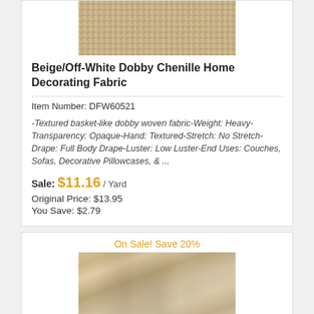[Figure (photo): Close-up of beige/off-white dobby chenille fabric texture]
Beige/Off-White Dobby Chenille Home Decorating Fabric
Item Number: DFW60521
-Textured basket-like dobby woven fabric-Weight: Heavy-Transparency: Opaque-Hand: Textured-Stretch: No Stretch-Drape: Full Body Drape-Luster: Low Luster-End Uses: Couches, Sofas, Decorative Pillowcases, & ...
Sale: $11.16 / Yard
Original Price: $13.95
You Save: $2.79
On Sale! Save 20%
[Figure (photo): Close-up of soft beige chenille fabric with draped folds]